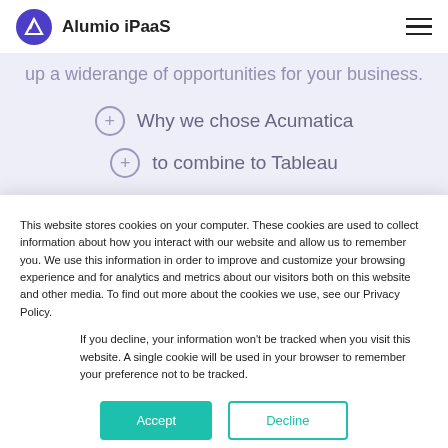Alumio iPaaS
up a widerange of opportunities for your business.
Why we chose Acumatica
to combine to Tableau
Alumio is the leading 'no-code integration
This website stores cookies on your computer. These cookies are used to collect information about how you interact with our website and allow us to remember you. We use this information in order to improve and customize your browsing experience and for analytics and metrics about our visitors both on this website and other media. To find out more about the cookies we use, see our Privacy Policy.
If you decline, your information won't be tracked when you visit this website. A single cookie will be used in your browser to remember your preference not to be tracked.